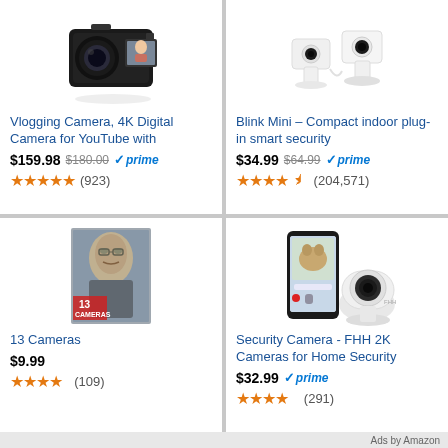[Figure (photo): Vlogging camera product photo - 4K digital camera with flip screen showing woman]
Vlogging Camera, 4K Digital Camera for YouTube with
$159.98 $180.00 ✓prime
★★★★★ (923)
[Figure (photo): Blink Mini indoor security camera - two white cameras on stands]
Blink Mini – Compact indoor plug-in smart security
$34.99 $64.99 ✓prime
★★★★☆ (204,571)
[Figure (photo): 13 Cameras movie poster - old man]
13 Cameras
$9.99
★★★★ (109)
[Figure (photo): FHH 2K security camera with phone app showing pet]
Security Camera - FHH 2K Cameras for Home Security
$32.99 ✓prime
★★★★ (291)
Ads by Amazon